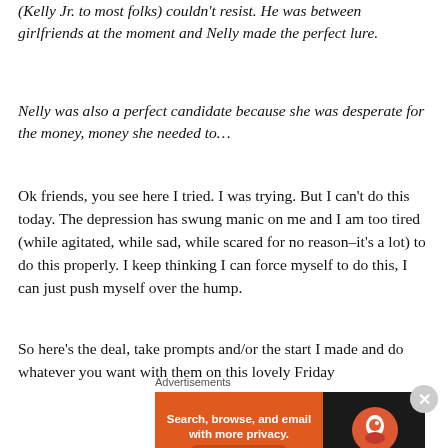(Kelly Jr. to most folks) couldn't resist. He was between girlfriends at the moment and Nelly made the perfect lure.
Nelly was also a perfect candidate because she was desperate for the money, money she needed to…
Ok friends, you see here I tried. I was trying. But I can't do this today. The depression has swung manic on me and I am too tired (while agitated, while sad, while scared for no reason–it's a lot) to do this properly. I keep thinking I can force myself to do this, I can just push myself over the hump.
So here's the deal, take prompts and/or the start I made and do whatever you want with them on this lovely Friday
Advertisements
[Figure (other): DuckDuckGo advertisement banner: Search, browse, and email with more privacy. All in One Free App]